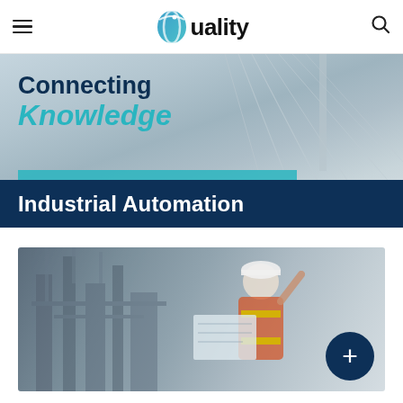Quality — Industrial Automation
[Figure (screenshot): Hero banner with bridge cables in background showing text 'Connecting Knowledge' and subtitle bar 'Industrial Automation' on dark blue background]
[Figure (photo): Engineer in hard hat and safety vest holding blueprints at industrial plant, with a dark blue circular plus button overlay]